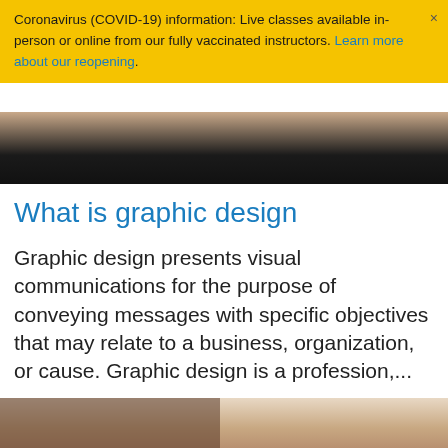Coronavirus (COVID-19) information: Live classes available in-person or online from our fully vaccinated instructors. Learn more about our reopening.
[Figure (photo): Top portion of a photo showing a dark background, partially visible, cropped at top of page]
What is graphic design
Graphic design presents visual communications for the purpose of conveying messages with specific objectives that may relate to a business, organization, or cause. Graphic design is a profession,...
[Figure (photo): Bottom photo showing a woman with glasses in what appears to be a classroom or office setting, with a dark sign on the wall to the left and equipment visible on the right]